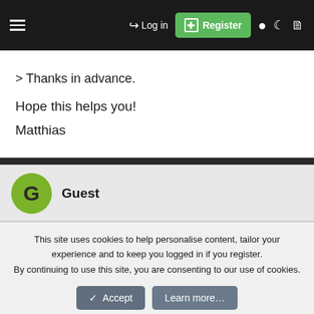Log in | Register
> Thanks in advance.
Hope this helps you!
Matthias
Guest
This site uses cookies to help personalise content, tailor your experience and to keep you logged in if you register.
By continuing to use this site, you are consenting to our use of cookies.